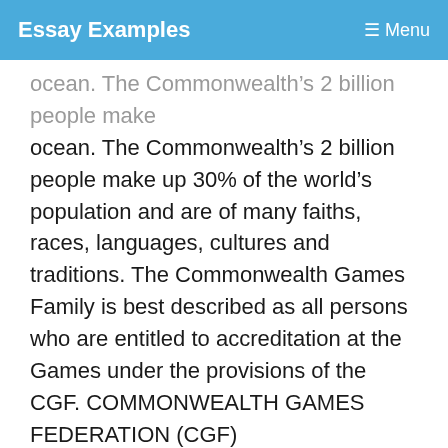Essay Examples   Menu
ocean. The Commonwealth's 2 billion people make up 30% of the world's population and are of many faiths, races, languages, cultures and traditions. The Commonwealth Games Family is best described as all persons who are entitled to accreditation at the Games under the provisions of the CGF. COMMONWEALTH GAMES FEDERATION (CGF)